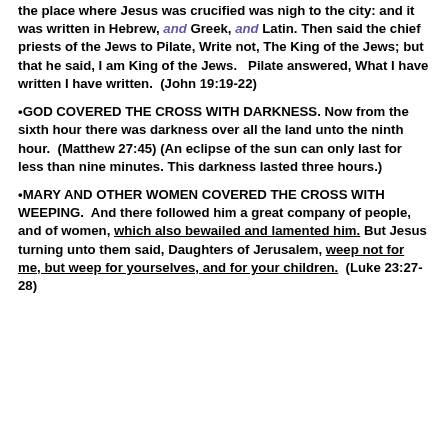the place where Jesus was crucified was nigh to the city: and it was written in Hebrew, and Greek, and Latin. Then said the chief priests of the Jews to Pilate, Write not, The King of the Jews; but that he said, I am King of the Jews.  Pilate answered, What I have written I have written.  (John 19:19-22)
•GOD COVERED THE CROSS WITH DARKNESS. Now from the sixth hour there was darkness over all the land unto the ninth hour.  (Matthew 27:45) (An eclipse of the sun can only last for less than nine minutes. This darkness lasted three hours.)
•MARY AND OTHER WOMEN COVERED THE CROSS WITH WEEPING.  And there followed him a great company of people, and of women, which also bewailed and lamented him. But Jesus turning unto them said, Daughters of Jerusalem, weep not for me, but weep for yourselves, and for your children.  (Luke 23:27-28)